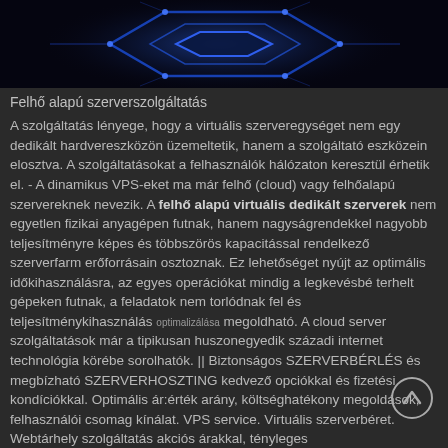[Figure (photo): Dark background image with blue neon/glowing geometric shapes or server-related graphic]
Felhő alapú szerverszolgáltatás
A szolgáltatás lényege, hogy a virtuális szerveregységet nem egy dedikált hardvereszközön üzemeltetik, hanem a szolgáltató eszközein elosztva. A szolgáltatásokat a felhasználók hálózaton keresztül érhetik el. - A dinamikus VPS-eket ma már felhő (cloud) vagy felhőalapú szervereknek nevezik. A felhő alapú virtuális dedikált szerverek nem egyetlen fizikai anyagépen futnak, hanem nagyságrendekkel nagyobb teljesítményre képes és többszörös kapacitással rendelkező szerverfarm erőforrásain osztoznak. Ez lehetőséget nyújt az optimális időkihasználásra, az egyes operációkat mindig a legkevésbé terhelt gépeken futnak, a feladatok nem torlódnak fel és teljesítménykihasználás optimalizálása megoldható. A cloud server szolgáltatások már a tipikusan huszonegyedik századi internet technológia körébe sorolhatók. || Biztonságos SZERVERBÉRLÉS és megbízható SZERVERHOSZTING kedvező opciókkal és fizetési kondíciókkal. Optimális ár:érték arány, költséghatékony megoldások, felhasználói csomag kínálat. VPS service. Virtuális szerverbéret. Webtárhely szolgáltatás akciós árakkal, tényleges